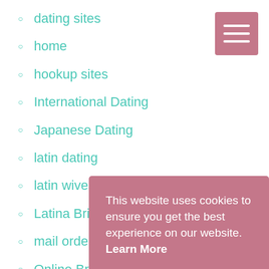dating sites
home
hookup sites
International Dating
Japanese Dating
latin dating
latin wives
Latina Brides
mail order br…
Online Brides
Online Datin…
protection s…
Russian Brides
[Figure (other): Hamburger menu button (3 horizontal white lines on pink/mauve background)]
This website uses cookies to ensure you get the best experience on our website. Learn More
Got, it